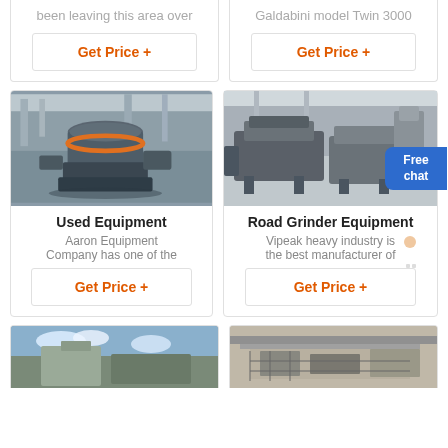been leaving this area over
Galdabini model Twin 3000
Get Price +
Get Price +
[Figure (photo): Industrial crusher/VSI sand making machine in a factory setting]
[Figure (photo): Road grinder equipment in a factory, with a person in white coat pointing]
Used Equipment
Road Grinder Equipment
Aaron Equipment Company has one of the
Vipeak heavy industry is the best manufacturer of
Get Price +
Get Price +
[Figure (photo): Outdoor industrial equipment with sky background]
[Figure (photo): Metal equipment components in a factory]